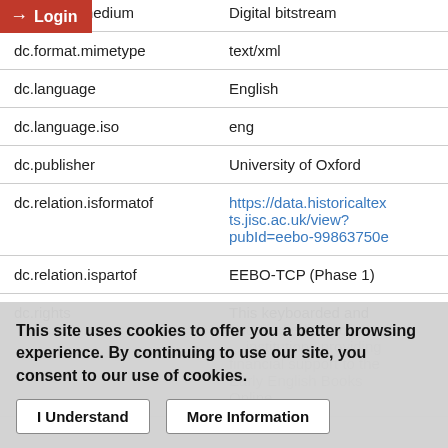| Field | Value |
| --- | --- |
| dc.format.medium | Digital bitstream |
| dc.format.mimetype | text/xml |
| dc.language | English |
| dc.language.iso | eng |
| dc.publisher | University of Oxford |
| dc.relation.isformatof | https://data.historicaltexts.jisc.ac.uk/view?pubId=eebo-99863750e |
| dc.relation.ispartof | EEBO-TCP (Phase 1) |
| dc.rights | This keyboarded and encoded edition of the ... institutions providing financial support to the Early English Books Online... |
This site uses cookies to offer you a better browsing experience. By continuing to use our site, you consent to our use of cookies.